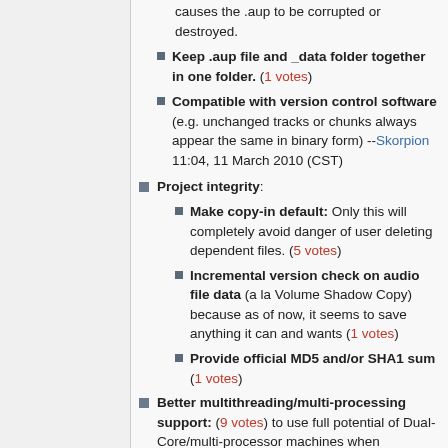causes the .aup to be corrupted or destroyed.
Keep .aup file and _data folder together in one folder. (1 votes)
Compatible with version control software (e.g. unchanged tracks or chunks always appear the same in binary form) --Skorpion 11:04, 11 March 2010 (CST)
Project integrity:
Make copy-in default: Only this will completely avoid danger of user deleting dependent files. (5 votes)
Incremental version check on audio file data (a la Volume Shadow Copy) because as of now, it seems to save anything it can and wants (1 votes)
Provide official MD5 and/or SHA1 sum (1 votes)
Better multithreading/multi-processing support: (9 votes) to use full potential of Dual-Core/multi-processor machines when exporting/editing the audio. Use Lisp